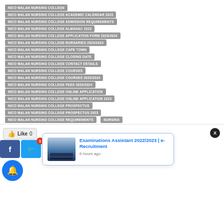NICO MALAN NURSING COLLEGE
NICO MALAN NURSING COLLEGE ACADEMIC CALENDAR 2023
NICO MALAN NURSING COLLEGE ADMISSION REQUIREMENTS
NICO MALAN NURSING COLLEGE ALMANAC 2023
NICO MALAN NURSING COLLEGE APPLICATION FORM 2023/2024
NICO MALAN NURSING COLLEGE BURSARIES 2023/2024
NICO MALAN NURSING COLLEGE CAPE TOWN
NICO MALAN NURSING COLLEGE CLOSING DATE
NICO MALAN NURSING COLLEGE CONTACT DETAILS
NICO MALAN NURSING COLLEGE COURSES
NICO MALAN NURSING COLLEGE COURSES 2023/2024
NICO MALAN NURSING COLLEGE FEES 2023/2024
NICO MALAN NURSING COLLEGE ONLINE APPLICATION
NICO MALAN NURSING COLLEGE ONLINE APPLICATION 2023
NICO MALAN NURSING COLLEGE PROSPECTUS
NICO MALAN NURSING COLLEGE PROSPECTUS 2023
NICO MALAN NURSING COLLEGE REQUIREMENTS
NURSING
[Figure (screenshot): Social media sharing buttons area with Like (0) button, Facebook, Twitter (with badge 3), Pinterest share buttons, bell notification button, and a popup notification for Examinations Assistant 2022/2023 | e-Recruitment posted 6 hours ago]